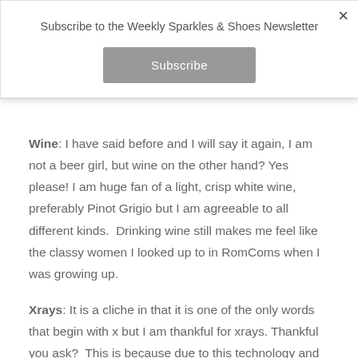Subscribe to the Weekly Sparkles & Shoes Newsletter
Subscribe
Wine: I have said before and I will say it again, I am not a beer girl, but wine on the other hand? Yes please! I am huge fan of a light, crisp white wine, preferably Pinot Grigio but I am agreeable to all different kinds.  Drinking wine still makes me feel like the classy women I looked up to in RomComs when I was growing up.
Xrays: It is a cliche in that it is one of the only words that begin with x but I am thankful for xrays. Thankful you ask?  This is because due to this technology and about a dozen photos I was able to find out that I needed massive knee